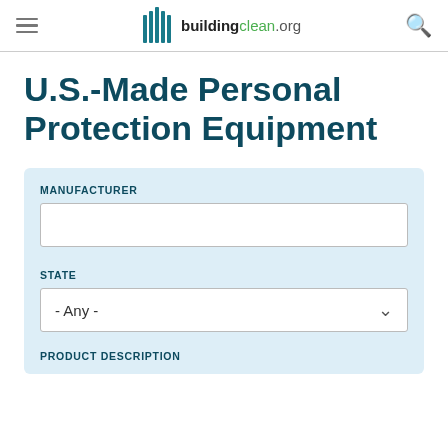buildingclean.org
U.S.-Made Personal Protection Equipment
MANUFACTURER
STATE
- Any -
PRODUCT DESCRIPTION